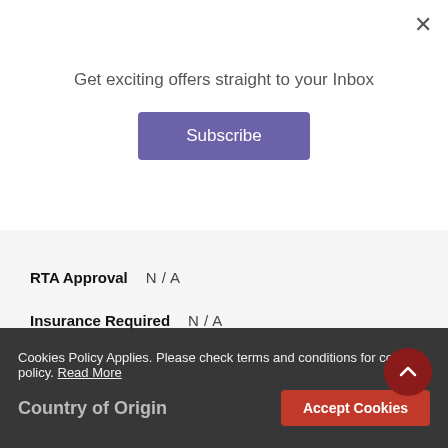Get exciting offers straight to your Inbox
Subscribe
RTA Approval    N / A
Insurance Required    N / A
Road Tax    N / A
Driver License Required    N / A
EBike Registration Required    N / A
FAME 2 Deduction    N / A
Country of Origin
Cookies Policy Applies. Please check terms and conditions for cookies policy. Read More
Accept Cookies